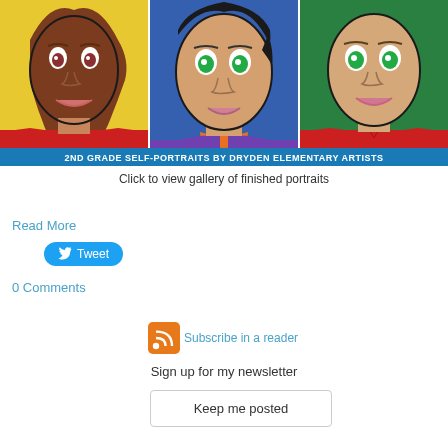[Figure (illustration): Three child self-portrait paintings side by side with a blue banner reading '2ND GRADE SELF-PORTRAITS BY DRYDEN ELEMENTARY ARTISTS'. Left portrait: girl with brown hair and red shirt on yellow background. Middle: person with green eyes, orange collar, purple shirt on blue background. Right: person with green eyes and red shirt on green background.]
Click to view gallery of finished portraits
Read More
Tweet
0 Comments
Subscribe in a reader
Sign up for my newsletter
Keep me posted